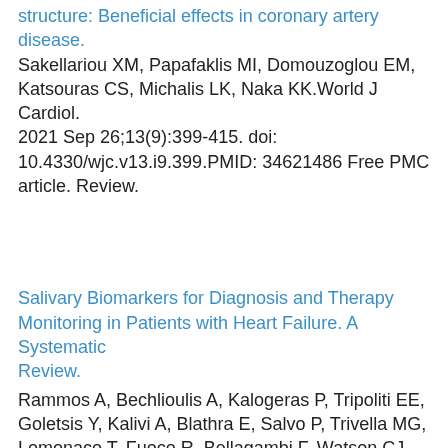structure: Beneficial effects in coronary artery disease. Sakellariou XM, Papafaklis MI, Domouzoglou EM, Katsouras CS, Michalis LK, Naka KK.World J Cardiol. 2021 Sep 26;13(9):399-415. doi: 10.4330/wjc.v13.i9.399.PMID: 34621486 Free PMC article. Review.
Salivary Biomarkers for Diagnosis and Therapy Monitoring in Patients with Heart Failure. A Systematic Review.
Rammos A, Bechlioulis A, Kalogeras P, Tripoliti EE, Goletsis Y, Kalivi A, Blathra E, Salvo P, Trivella MG, Lomonaco T, Fuoco R, Bellagambi F, Watson CJ, Errachid A, Fotiadis DI, Michalis LK, Naka KK.Diagnostics (Basel). 2021 May 2;11(5):824. doi: